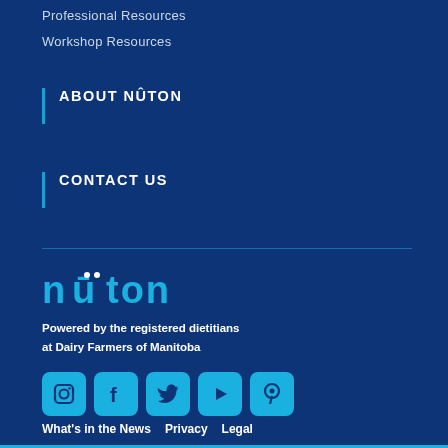Professional Resources
Workshop Resources
ABOUT NÛTON
CONTACT US
[Figure (logo): Nūton logo in cyan/teal color with two dots above the u]
Powered by the registered dietitians at Dairy Farmers of Manitoba
[Figure (infographic): Social media icons: Instagram, Facebook, Twitter, YouTube, Pinterest — all in cyan on dark blue rounded squares]
What's in the News   Privacy   Legal